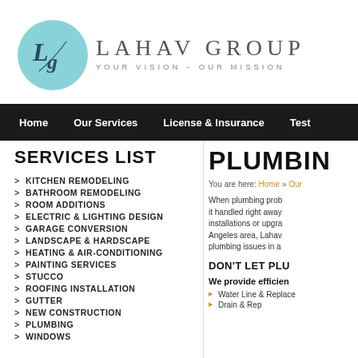[Figure (logo): Lahav Group logo with teal circle containing LG monogram, company name and tagline YOUR VISION - OUR MISSION]
Home | Our Services | License & Insurance | Test...
SERVICES LIST
> KITCHEN REMODELING
> BATHROOM REMODELING
> ROOM ADDITIONS
> ELECTRIC & LIGHTING DESIGN
> GARAGE CONVERSION
> LANDSCAPE & HARDSCAPE
> HEATING & AIR-CONDITIONING
> PAINTING SERVICES
> STUCCO
> ROOFING INSTALLATION
> GUTTER
> NEW CONSTRUCTION
> PLUMBING
> WINDOWS
PLUMBIN...
You are here: Home » Our...
When plumbing prob... it handled right away... installations or upgra... Angeles area, Lahav... plumbing issues in a...
DON'T LET PLU...
We provide efficien...
Water Line & Replace...
Drain & Rep...